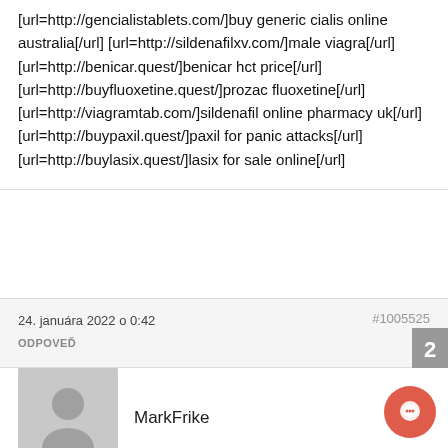[url=http://gencialistablets.com/]buy generic cialis online australia[/url] [url=http://sildenafilxv.com/]male viagra[/url] [url=http://benicar.quest/]benicar hct price[/url] [url=http://buyfluoxetine.quest/]prozac fluoxetine[/url] [url=http://viagramtab.com/]sildenafil online pharmacy uk[/url] [url=http://buypaxil.quest/]paxil for panic attacks[/url] [url=http://buylasix.quest/]lasix for sale online[/url]
24. januára 2022 o 0:42
#1005525
ODPOVEĎ
[Figure (illustration): Generic user avatar placeholder — grey square with silhouette of a person]
MarkFrike
[url=http://cialisotabs.com/]where to buy generic cialis online canada[/url]